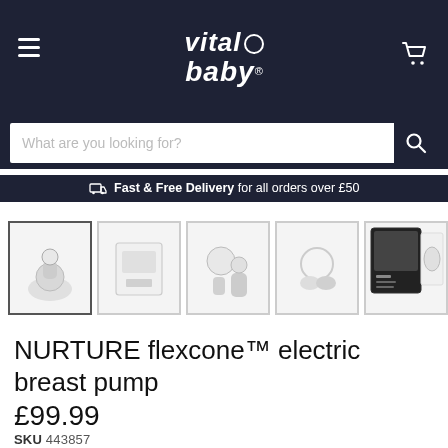vital baby
What are you looking for?
Fast & Free Delivery for all orders over £50
[Figure (photo): Product thumbnail gallery showing the NURTURE flexcone electric breast pump from various angles and packaging, with 6 thumbnails and a right arrow for more]
NURTURE flexcone™ electric breast pump
£99.99
SKU 443857